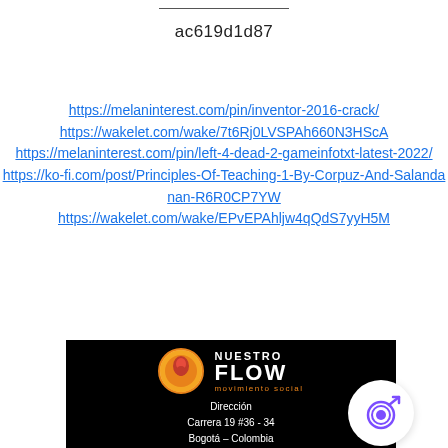ac619d1d87
https://melaninterest.com/pin/inventor-2016-crack/
https://wakelet.com/wake/7t6Rj0LVSPAh660N3HScA
https://melaninterest.com/pin/left-4-dead-2-gameinfotxt-latest-2022/
https://ko-fi.com/post/Principles-Of-Teaching-1-By-Corpuz-And-Salandanan-R6R0CP7YW
https://wakelet.com/wake/EPvEPAhljw4qQdS7yyH5M
[Figure (logo): Nuestro Flow social movement logo and address. Black background with orange circular logo, text NUESTRO FLOW Movimiento social, Dirección, Carrera 19 #36 - 34, Bogotá - Colombia. White circular badge with target/goal icon overlapping bottom right.]